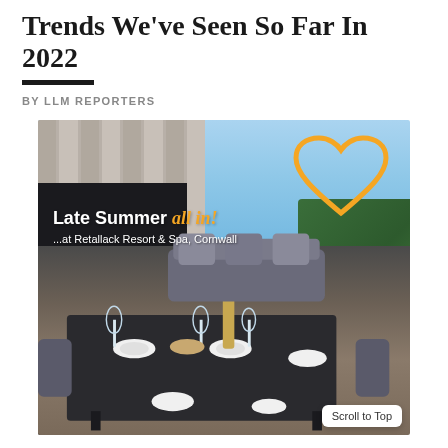Trends We've Seen So Far In 2022
BY LLM REPORTERS
[Figure (photo): Promotional photo of a luxury terrace dining setup at Retallack Resort & Spa, Cornwall, showing outdoor furniture, set dining table, and green surroundings. Overlaid text reads 'Late Summer all in! ...at Retallack Resort & Spa, Cornwall' with an orange heart graphic.]
Scroll to Top